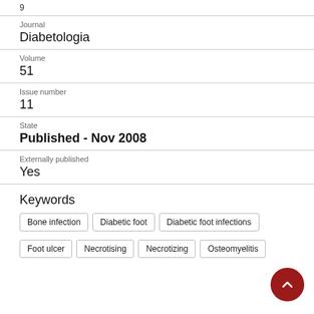9
Journal
Diabetologia
Volume
51
Issue number
11
State
Published - Nov 2008
Externally published
Yes
Keywords
Bone infection
Diabetic foot
Diabetic foot infections
Foot ulcer
Necrotising
Necrotizing
Osteomyelitis